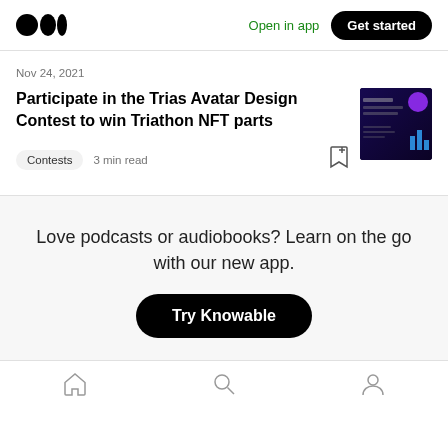Medium logo | Open in app | Get started
Nov 24, 2021
Participate in the Trias Avatar Design Contest to win Triathon NFT parts
Contests · 3 min read
[Figure (illustration): Dark purple/blue themed NFT contest promotional image with glowing text and abstract visuals]
Love podcasts or audiobooks? Learn on the go with our new app.
Try Knowable